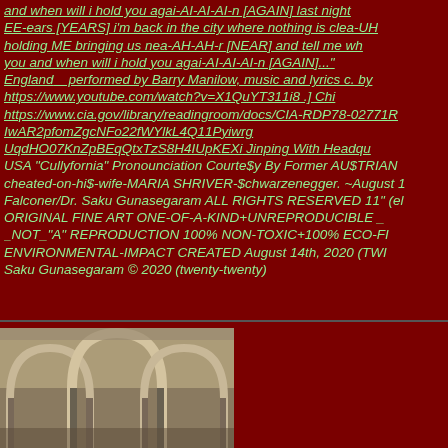and when will i hold you agai-AI-AI-AI-n [AGAIN] last night EE-ears [YEARS] i'm back in the city where nothing is clea-UH holding ME bringing us nea-AH-AH-r [NEAR] and tell me wh you and when will i hold you agai-AI-AI-AI-n [AGAIN]..." England _ performed by Barry Manilow, music and lyrics c. by https://www.youtube.com/watch?v=X1QuYT311i8 .] Chi https://www.cia.gov/library/readingroom/docs/CIA-RDP78-02771R IwAR2pfomZgcNFo22fWYlkL4Q11Pyiwrg UqdHO07KnZpBEqQtxTzS8H4IUpKEXi Jinping With Headqu USA "Cullyfornia" Pronounciation Courte$y By Former AU$TRIAN cheated-on-hi$-wife-MARIA SHRIVER-$chwarzenegger. ~August 1 Falconer/Dr. Saku Gunasegaram ALL RIGHTS RESERVED 11" (el ORIGINAL FINE ART ONE-OF-A-KIND+UNREPRODUCIBLE _ _NOT_"A" REPRODUCTION 100% NON-TOXIC+100% ECO-FI ENVIRONMENTAL-IMPACT CREATED August 14th, 2020 (TWI Saku Gunasegaram © 2020 (twenty-twenty)
[Figure (photo): Photograph of arched stone or metal structural elements, showing curved architectural details in muted beige/brown tones]